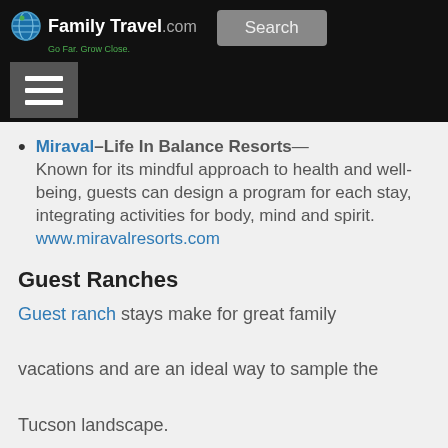[Figure (screenshot): FamilyTravel.com website header with logo, search button, and hamburger menu on black background]
Miraval–Life In Balance Resorts— Known for its mindful approach to health and well-being, guests can design a program for each stay, integrating activities for body, mind and spirit. www.miravalresorts.com
Guest Ranches
Guest ranch stays make for great family vacations and are an ideal way to sample the Tucson landscape.